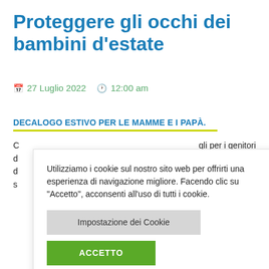Proteggere gli occhi dei bambini d'estate
27 Luglio 2022   12:00 am
DECALOGO ESTIVO PER LE MAMME E I PAPÀ.
Utilizziamo i cookie sul nostro sito web per offrirti una esperienza di navigazione migliore. Facendo clic su "Accetto", acconsenti all'uso di tutti i cookie.
gli per i genitori salute oculare anche ai genitori
molto piccoli.